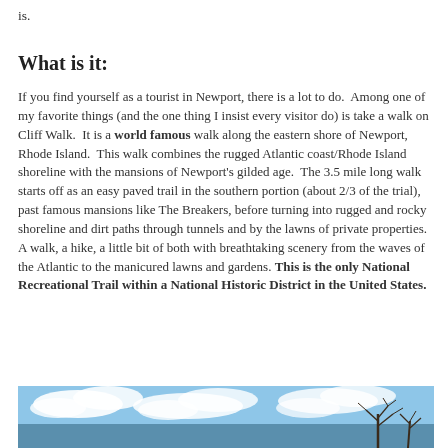is.
What is it:
If you find yourself as a tourist in Newport, there is a lot to do.  Among one of my favorite things (and the one thing I insist every visitor do) is take a walk on Cliff Walk.  It is a world famous walk along the eastern shore of Newport, Rhode Island.  This walk combines the rugged Atlantic coast/Rhode Island shoreline with the mansions of Newport's gilded age.  The 3.5 mile long walk starts off as an easy paved trail in the southern portion (about 2/3 of the trial), past famous mansions like The Breakers, before turning into rugged and rocky shoreline and dirt paths through tunnels and by the lawns of private properties.  A walk, a hike, a little bit of both with breathtaking scenery from the waves of the Atlantic to the manicured lawns and gardens. This is the only National Recreational Trail within a National Historic District in the United States.
[Figure (photo): Outdoor scenic photo showing blue sky with clouds and trees, likely taken along the Cliff Walk in Newport.]